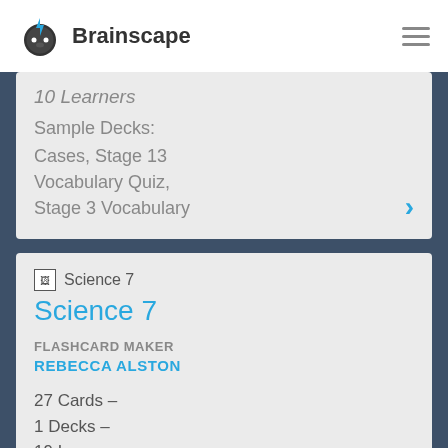Brainscape
10 Learners
Sample Decks: Cases, Stage 13 Vocabulary Quiz, Stage 3 Vocabulary
[Figure (screenshot): Science 7 thumbnail image placeholder]
Science 7
FLASHCARD MAKER
REBECCA ALSTON
27 Cards –
1 Decks –
19 Learners